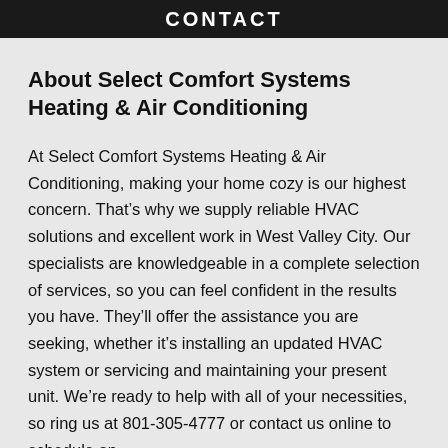CONTACT
About Select Comfort Systems Heating & Air Conditioning
At Select Comfort Systems Heating & Air Conditioning, making your home cozy is our highest concern. That's why we supply reliable HVAC solutions and excellent work in West Valley City. Our specialists are knowledgeable in a complete selection of services, so you can feel confident in the results you have. They'll offer the assistance you are seeking, whether it's installing an updated HVAC system or servicing and maintaining your present unit. We're ready to help with all of your necessities, so ring us at 801-305-4777 or contact us online to schedule an